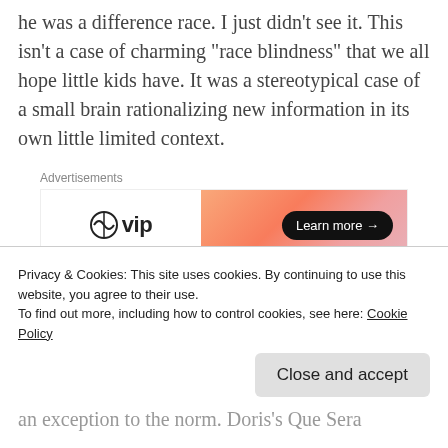he was a difference race.  I just didn't see it.  This isn't a case of charming “race blindness” that we all hope little kids have.  It was a stereotypical case of a small brain rationalizing new information in its own little limited context.
[Figure (other): WordPress VIP advertisement banner with orange/pink gradient and 'Learn more' button]
The first time I truly understood there were different people in the world wasn't because
Privacy & Cookies: This site uses cookies. By continuing to use this website, you agree to their use.
To find out more, including how to control cookies, see here: Cookie Policy
an exception to the norm.  Doris's Que Sera